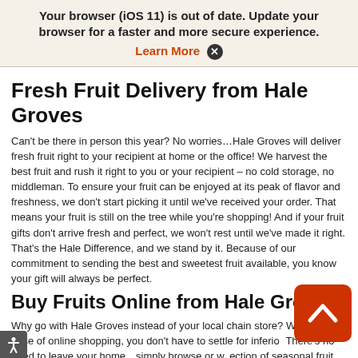Your browser (iOS 11) is out of date. Update your browser for a faster and more secure experience. Learn More ✕
Fresh Fruit Delivery from Hale Groves
Can't be there in person this year? No worries…Hale Groves will deliver fresh fruit right to your recipient at home or the office! We harvest the best fruit and rush it right to you or your recipient – no cold storage, no middleman. To ensure your fruit can be enjoyed at its peak of flavor and freshness, we don't start picking it until we've received your order. That means your fruit is still on the tree while you're shopping! And if your fruit gifts don't arrive fresh and perfect, we won't rest until we've made it right. That's the Hale Difference, and we stand by it. Because of our commitment to sending the best and sweetest fruit available, you know your gift will always be perfect.
Buy Fruits Online from Hale Groves!
Why go with Hale Groves instead of your local chain store? With the ease of online shopping, you don't have to settle for inferior… There's no need to leave your home…simply browse or w… ection of seasonal fruit and place your order. It's that simple! Fresh